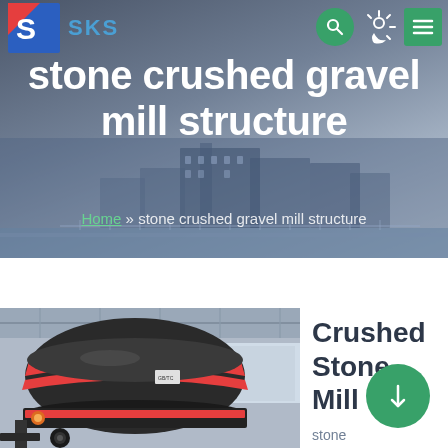SKS
stone crushed gravel mill structure
Home » stone crushed gravel mill structure
[Figure (photo): Close-up photo of a large industrial crushed stone ball mill machine with red and black exterior, inside a factory building]
Crushed Stone Mill
stone crus gravel mill